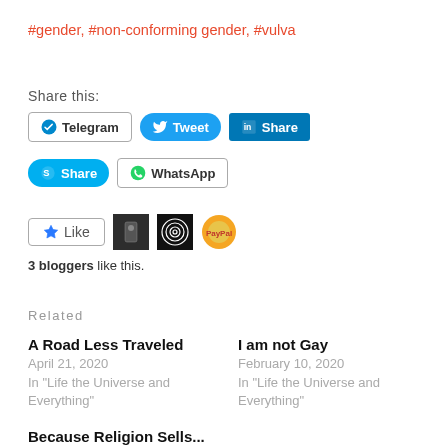#gender, #non-conforming gender, #vulva
Share this:
Telegram  Tweet  Share  Share  WhatsApp
[Figure (screenshot): Like button with 3 blogger avatars]
3 bloggers like this.
Related
A Road Less Traveled
April 21, 2020
In "Life the Universe and Everything"
I am not Gay
February 10, 2020
In "Life the Universe and Everything"
Because Religion Sells...